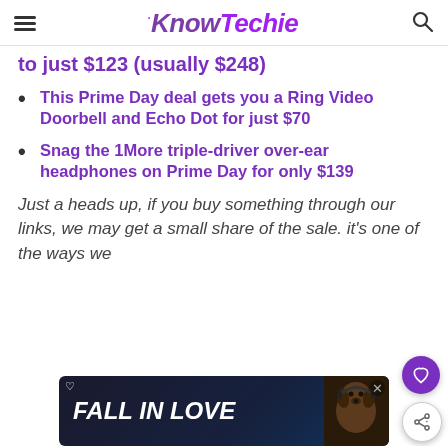KnowTechie
to just $123 (usually $248)
This Prime Day deal gets you a Ring Video Doorbell and Echo Dot for just $70
Snag the 1More triple-driver over-ear headphones on Prime Day for only $139
Just a heads up, if you buy something through our links, we may get a small share of the sale. it's one of the ways we
[Figure (photo): Advertisement banner showing 'FALL IN LOVE' text with a dog wearing headphones]